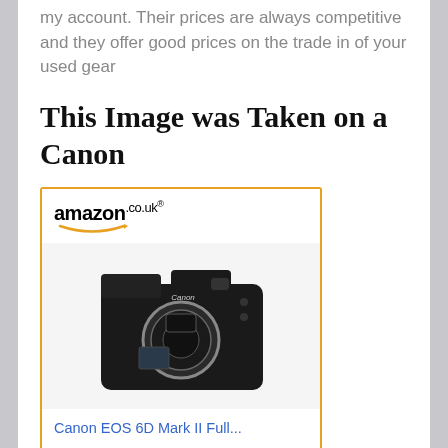my account. Their prices are always competitive and they offer good prices on the trade in of your used gear
This Image was Taken on a Canon
[Figure (screenshot): Amazon.co.uk product widget showing a Canon EOS 6D Mark II Full... camera body priced at £1,189.99 with a 'Shop now' button]